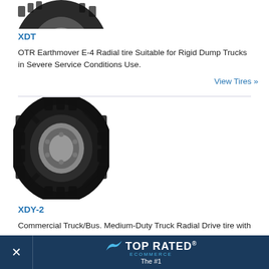[Figure (photo): Top portion of a black OTR tire tread, partially cropped at top of page]
XDT
OTR Earthmover E-4 Radial tire Suitable for Rigid Dump Trucks in Severe Service Conditions Use.
View Tires »
[Figure (photo): Black commercial truck/bus drive tire with deep directional tread pattern, side profile view]
XDY-2
Commercial Truck/Bus. Medium-Duty Truck Radial Drive tire with Deep Directional Tread Optimized for Traction and Mileage in Severe
[Figure (other): Top Rated Ecommerce badge overlay banner with close X button, showing 'The #1' text]